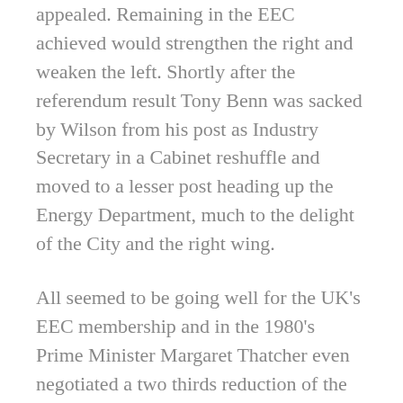appealed. Remaining in the EEC achieved would strengthen the right and weaken the left. Shortly after the referendum result Tony Benn was sacked by Wilson from his post as Industry Secretary in a Cabinet reshuffle and moved to a lesser post heading up the Energy Department, much to the delight of the City and the right wing.
All seemed to be going well for the UK's EEC membership and in the 1980's Prime Minister Margaret Thatcher even negotiated a two thirds reduction of the nation's contribution to the Community budget. She and her government backed the 1987 Single European Act the first major revision of the 1957 Treaty of Rome which set a deadline for the creation of a full single market by 1992 and created deeper integration by making it easier to pass laws, strengthening the EU Parliament (it was now officially to be called a parliament rather than an assembly) and laying the basis for a European